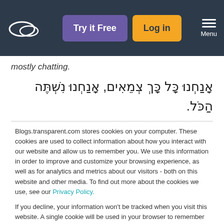[Figure (screenshot): Navigation bar with logo, Try it Free button (purple), Log in button (yellow/orange), and Menu hamburger icon on dark navy background]
mostly chatting.
אָנַחְנוּ כָּל כָּך צְמֵאִים, אָנַחְנוּ נִשְׁתֶּה הַכֹּל.
Blogs.transparent.com stores cookies on your computer. These cookies are used to collect information about how you interact with our website and allow us to remember you. We use this information in order to improve and customize your browsing experience, as well as for analytics and metrics about our visitors - both on this website and other media. To find out more about the cookies we use, see our Privacy Policy.
If you decline, your information won't be tracked when you visit this website. A single cookie will be used in your browser to remember your preference not to be tracked.